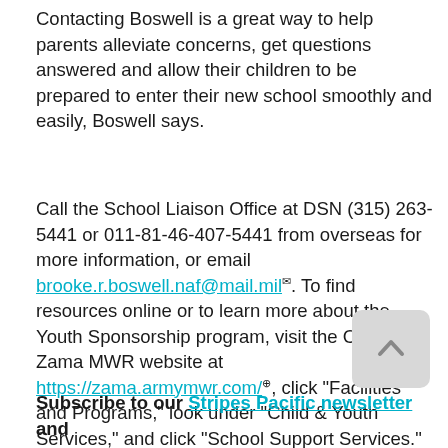Contacting Boswell is a great way to help parents alleviate concerns, get questions answered and allow their children to be prepared to enter their new school smoothly and easily, Boswell says.
Call the School Liaison Office at DSN (315) 263-5441 or 011-81-46-407-5441 from overseas for more information, or email brooke.r.boswell.naf@mail.mil. To find resources online or to learn more about the Youth Sponsorship program, visit the Camp Zama MWR website at https://zama.armymwr.com/, click "Facilities and Programs," look under "Child & Youth Services," and click "School Support Services."
Subscribe to our Stripes Pacific newsletter and